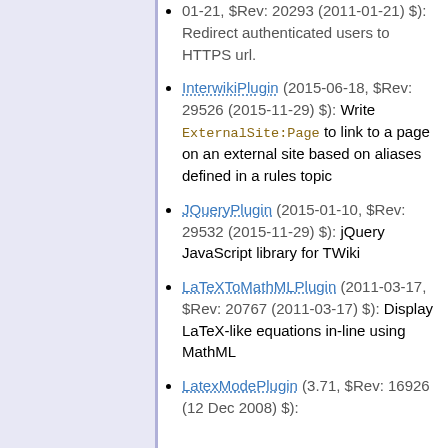01-21, $Rev: 20293 (2011-01-21) $): Redirect authenticated users to HTTPS url.
InterwikiPlugin (2015-06-18, $Rev: 29526 (2015-11-29) $): Write ExternalSite:Page to link to a page on an external site based on aliases defined in a rules topic
JQueryPlugin (2015-01-10, $Rev: 29532 (2015-11-29) $): jQuery JavaScript library for TWiki
LaTeXToMathMLPlugin (2011-03-17, $Rev: 20767 (2011-03-17) $): Display LaTeX-like equations in-line using MathML
LatexModePlugin (3.71, $Rev: 16926 (12 Dec 2008) $):